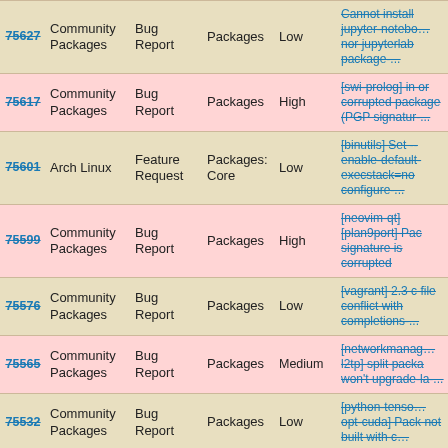| ID | Category | Type | Subcategory | Priority | Description |
| --- | --- | --- | --- | --- | --- |
| 75627 | Community Packages | Bug Report | Packages | Low | Cannot install jupyter-notebook nor jupyterlab package-... |
| 75617 | Community Packages | Bug Report | Packages | High | [swi-prolog] in or corrupted package (PGP signatur-... |
| 75601 | Arch Linux | Feature Request | Packages: Core | Low | [binutils] Set -- enable-default-execstack=no configure-... |
| 75599 | Community Packages | Bug Report | Packages | High | [neovim-qt] [plan9port] Pac signature is corrupted |
| 75576 | Community Packages | Bug Report | Packages | Low | [vagrant] 2.3 c file conflict with completions-... |
| 75565 | Community Packages | Bug Report | Packages | Medium | [networkmanager-l2tp] split pack won't upgrade-la-... |
| 75532 | Community Packages | Bug Report | Packages | Low | [python-tensorflow-opt-cuda] Pack not built with c... |
| 75532b | Community Packages | Bug Report | Packages | Low | [electron] Pack... |